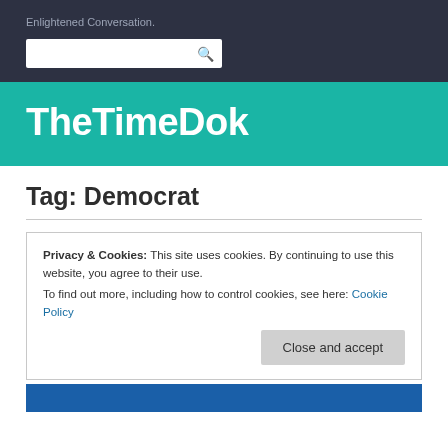Enlightened Conversation.
TheTimeDok
Tag: Democrat
Privacy & Cookies: This site uses cookies. By continuing to use this website, you agree to their use.
To find out more, including how to control cookies, see here: Cookie Policy
Close and accept